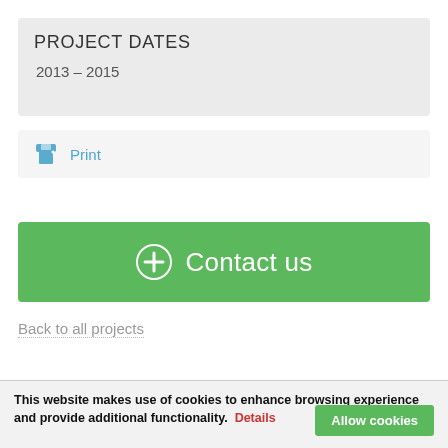PROJECT DATES
2013 – 2015
Print
+ Contact us
Back to all projects
This website makes use of cookies to enhance browsing experience and provide additional functionality.  Details
Allow cookies